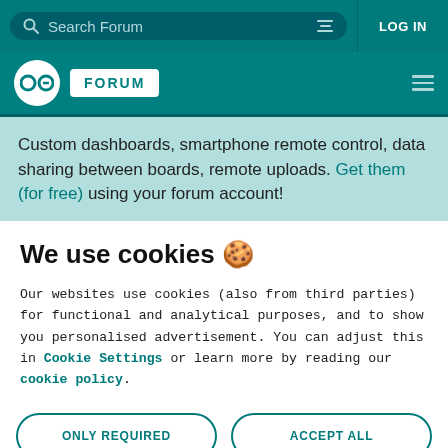Search Forum | LOG IN
[Figure (logo): Arduino Forum logo with infinity symbol and FORUM badge]
Custom dashboards, smartphone remote control, data sharing between boards, remote uploads. Get them (for free) using your forum account!
We use cookies 🍪
Our websites use cookies (also from third parties) for functional and analytical purposes, and to show you personalised advertisement. You can adjust this in Cookie Settings or learn more by reading our cookie policy.
ONLY REQUIRED | ACCEPT ALL